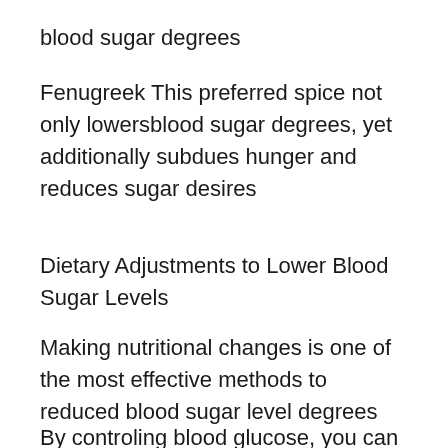blood sugar degrees
Fenugreek This preferred spice not only lowersblood sugar degrees, yet additionally subdues hunger and reduces sugar desires
Dietary Adjustments to Lower Blood Sugar Levels
Making nutritional changes is one of the most effective methods to reduced blood sugar level degrees
By controling blood glucose, you can regulate how much insulin your body